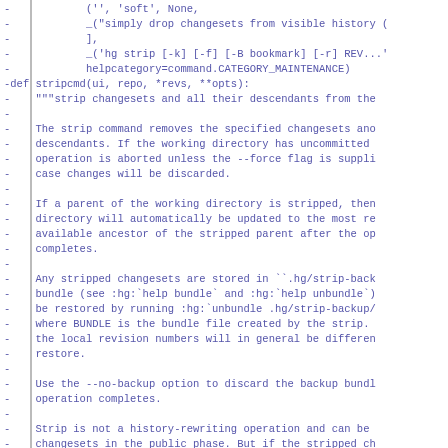Code diff showing stripcmd function definition and docstring including descriptions of strip command behavior regarding changesets, working directory, backup bundles, and history-rewriting.